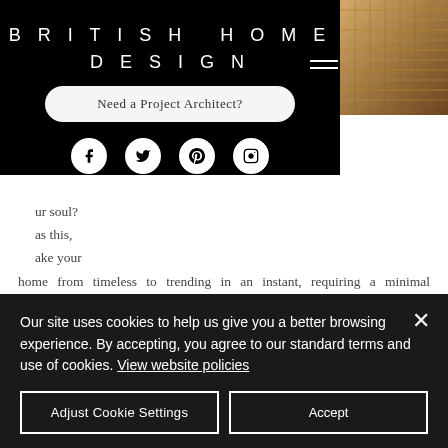BRITISH HOME DESIGN
Need a Project Architect?
[Figure (screenshot): Top-right woven basket/rattan texture photo]
ur soul? as this, ake your home from timeless to trending in an instant, requiring a minimal investment and providing flexible styling opportunities. One of the key trends this season is layering up stripes, on top of even more stripes, whilst keeping the colours, proportions and directions diverse and mismatching.
Our site uses cookies to help us give you a better browsing experience. By accepting, you agree to our standard terms and use of cookies. View website policies
Adjust Cookie Settings
Accept